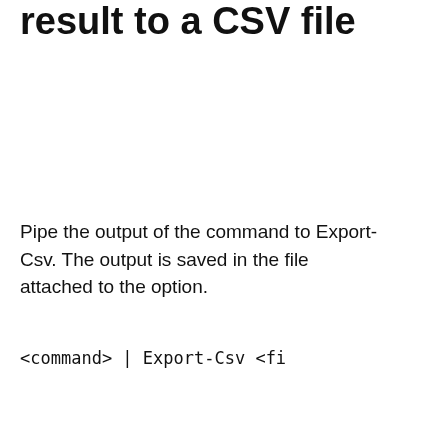…ecution result to a CSV file
Pipe the output of the command to Export-Csv. The output is saved in the file attached to the option.
Since the output output to the screen is formatted in CSV, the data that is not displayed is not saved. The output CSV can be read as it is with Excel or the like.
Save the